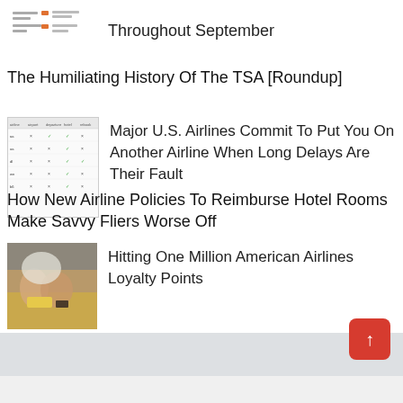[Figure (infographic): Small thumbnail image showing a chart or legend with colored bars/labels, beside text 'Throughout September']
Throughout September
The Humiliating History Of The TSA [Roundup]
[Figure (table-as-image): Small thumbnail showing a comparison table with checkmarks and X marks for airline policies across columns]
Major U.S. Airlines Commit To Put You On Another Airline When Long Delays Are Their Fault
How New Airline Policies To Reimburse Hotel Rooms Make Savvy Fliers Worse Off
[Figure (photo): Photo of hands working with gold-colored objects on a surface]
Hitting One Million American Airlines Loyalty Points